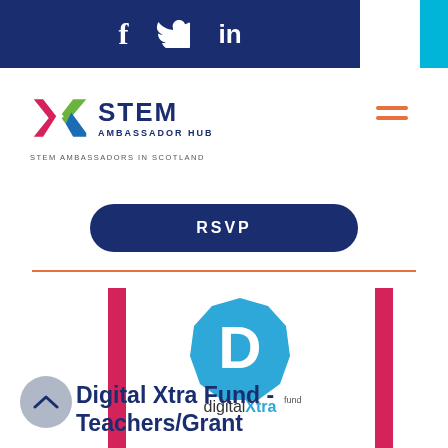[Figure (logo): Social media icons (Facebook f, Twitter bird, LinkedIn in) on dark navy background bar]
[Figure (logo): STEM Ambassador Hub logo with X graphic and text 'STEM AMBASSADOR HUB', tagline 'STEM AMBASSADORS IN SCOTLAND']
[Figure (infographic): Orange hamburger menu icon (three horizontal lines)]
RSVP
[Figure (logo): Digital Xtra Fund logo: blue octagonal D icon above 'digitalXtra fund' wordmark, flanked by pink vertical bars]
Digital Xtra Fund - Teachers/Grant